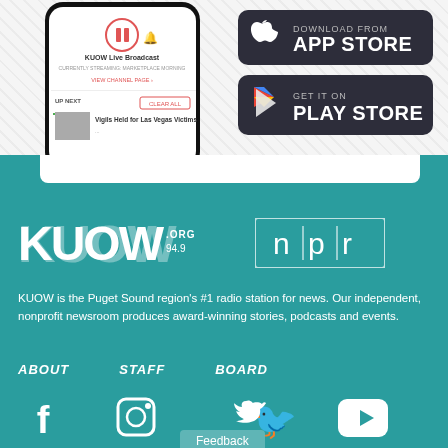[Figure (screenshot): Smartphone mockup showing KUOW Live Broadcast app interface with pause button and 'Vigils Held for Las Vegas Victims' news item]
[Figure (logo): App Store download button (dark rounded rectangle with Apple logo)]
[Figure (logo): Google Play Store download button (dark rounded rectangle with Play Store logo)]
[Figure (logo): KUOW.org 94.9 logo in white bold text on teal background]
[Figure (logo): NPR logo in white text within outlined box on teal background]
KUOW is the Puget Sound region's #1 radio station for news. Our independent, nonprofit newsroom produces award-winning stories, podcasts and events.
ABOUT
STAFF
BOARD
[Figure (infographic): Social media icons: Facebook, Instagram, Twitter, YouTube on teal background]
Feedback